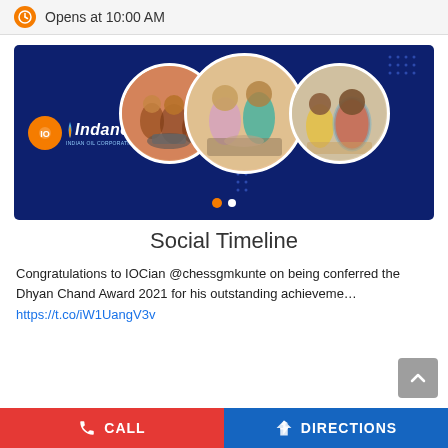Opens at 10:00 AM
[Figure (photo): Indane gas brand banner showing three circular photos of families cooking together on a dark blue background with decorative dot patterns]
Social Timeline
Congratulations to IOCian @chessgmkunte on being conferred the Dhyan Chand Award 2021 for his outstanding achieveme…
https://t.co/iW1UangV3v
CALL   DIRECTIONS